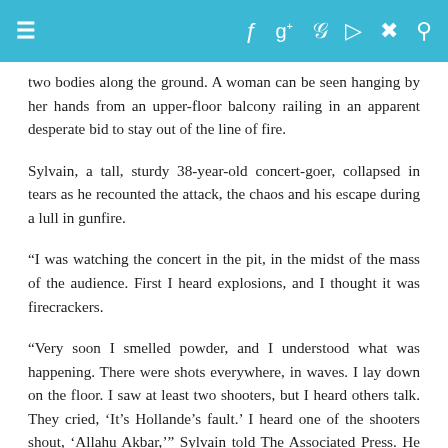≡  f  g+  p  RSS  Twitter  Search (navigation bar)
two bodies along the ground. A woman can be seen hanging by her hands from an upper-floor balcony railing in an apparent desperate bid to stay out of the line of fire.
Sylvain, a tall, sturdy 38-year-old concert-goer, collapsed in tears as he recounted the attack, the chaos and his escape during a lull in gunfire.
“I was watching the concert in the pit, in the midst of the mass of the audience. First I heard explosions, and I thought it was firecrackers.
“Very soon I smelled powder, and I understood what was happening. There were shots everywhere, in waves. I lay down on the floor. I saw at least two shooters, but I heard others talk. They cried, ‘It’s Hollande’s fault.’ I heard one of the shooters shout, ‘Allahu Akbar,’” Sylvain told The Associated Press. He spoke on condition that his full name not be used out of concern for his safety.
He was among dozens of survivors offered counseling and